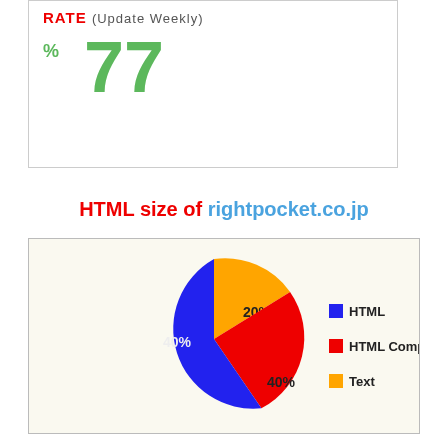RATE (Update Weekly)
% 77
HTML size of rightpocket.co.jp
[Figure (pie-chart): HTML size of rightpocket.co.jp]